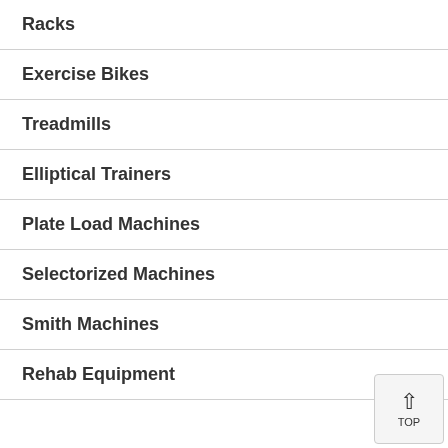Racks
Exercise Bikes
Treadmills
Elliptical Trainers
Plate Load Machines
Selectorized Machines
Smith Machines
Rehab Equipment